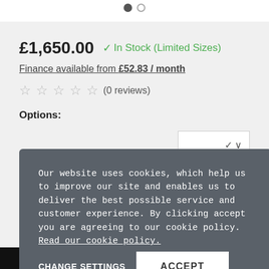[Figure (screenshot): Pagination dots: one filled dark circle and one empty circle]
£1,650.00 ✓ In Stock (Limited Sizes)
Finance available from £52.83 / month
☆☆☆☆☆ (0 reviews)
Options:
Our website uses cookies, which help us to improve our site and enables us to deliver the best possible service and customer experience. By clicking accept you are agreeing to our cookie policy. Read our cookie policy.
CHANGE SETTINGS
ACCEPT
More